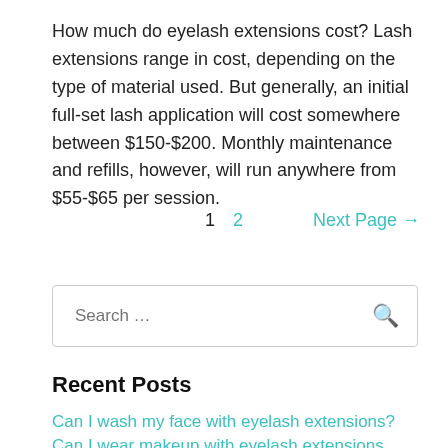How much do eyelash extensions cost? Lash extensions range in cost, depending on the type of material used. But generally, an initial full-set lash application will cost somewhere between $150-$200. Monthly maintenance and refills, however, will run anywhere from $55-$65 per session.
1   2   Next Page →
Search ...
Recent Posts
Can I wash my face with eyelash extensions?
Can I wear makeup with eyelash extensions